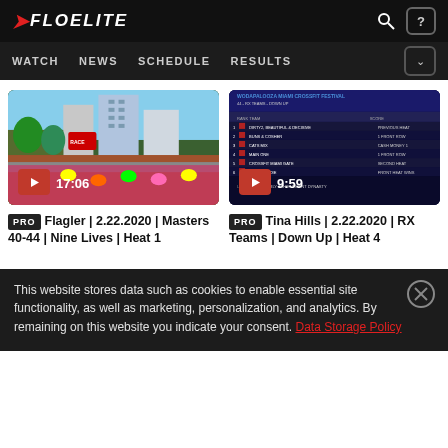FLOELITE
WATCH  NEWS  SCHEDULE  RESULTS
[Figure (screenshot): Video thumbnail showing outdoor cycling/triathlon race scene with city buildings, duration 17:06]
PRO Flagler | 2.22.2020 | Masters 40-44 | Nine Lives | Heat 1
[Figure (screenshot): Video thumbnail showing scoreboard/results screen for Wodapalooza Miami CrossFit Festival, RX Teams Down Up, duration 9:59]
PRO Tina Hills | 2.22.2020 | RX Teams | Down Up | Heat 4
This website stores data such as cookies to enable essential site functionality, as well as marketing, personalization, and analytics. By remaining on this website you indicate your consent. Data Storage Policy